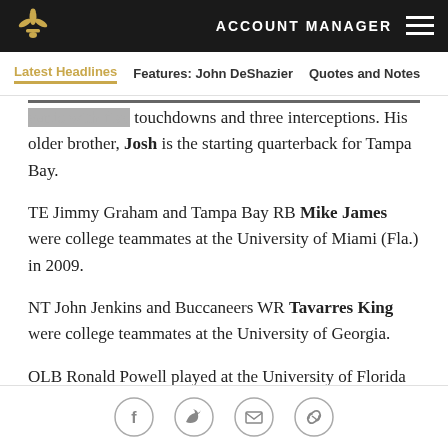ACCOUNT MANAGER
Latest Headlines | Features: John DeShazier | Quotes and Notes
yards with five touchdowns and three interceptions. His older brother, Josh is the starting quarterback for Tampa Bay.
TE Jimmy Graham and Tampa Bay RB Mike James were college teammates at the University of Miami (Fla.) in 2009.
NT John Jenkins and Buccaneers WR Tavarres King were college teammates at the University of Georgia.
OLB Ronald Powell played at the University of Florida from 2010-13, where he was a college teammate of Tampa Bay WR Solomon Patton.